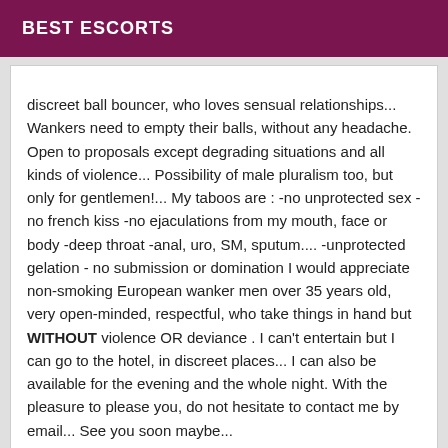BEST ESCORTS
discreet ball bouncer, who loves sensual relationships... Wankers need to empty their balls, without any headache. Open to proposals except degrading situations and all kinds of violence... Possibility of male pluralism too, but only for gentlemen!... My taboos are : -no unprotected sex -no french kiss -no ejaculations from my mouth, face or body -deep throat -anal, uro, SM, sputum.... -unprotected gelation - no submission or domination I would appreciate non-smoking European wanker men over 35 years old, very open-minded, respectful, who take things in hand but WITHOUT violence OR deviance . I can't entertain but I can go to the hotel, in discreet places... I can also be available for the evening and the whole night. With the pleasure to please you, do not hesitate to contact me by email... See you soon maybe...